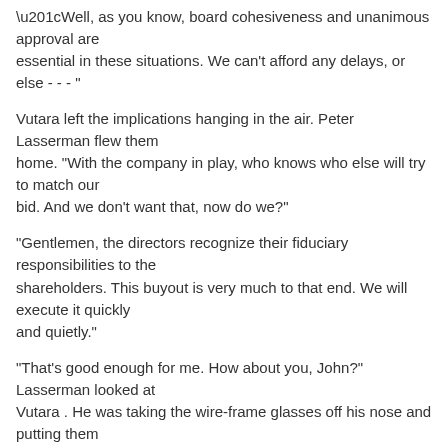“Well, as you know, board cohesiveness and unanimous approval are essential in these situations. We can’t afford any delays, or else - - - “
Vutara left the implications hanging in the air. Peter Lasserman flew them home. “With the company in play, who knows who else will try to match our bid. And we don’t want that, now do we?”
“Gentlemen, the directors recognize their fiduciary responsibilities to the shareholders. This buyout is very much to that end. We will execute it quickly and quietly.”
“That’s good enough for me. How about you, John?” Lasserman looked at Vutara . He was taking the wire-frame glasses off his nose and putting them carefully away in his breast pocket.